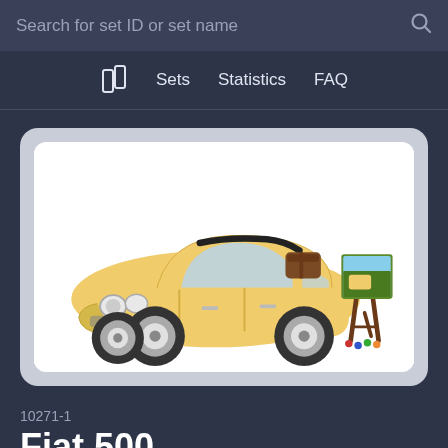Search for set ID or set name
Sets   Statistics   FAQ
[Figure (photo): LEGO Fiat 500 set 10271-1 product photo. A yellow LEGO brick model of a classic Fiat 500 car, with a small painter's easel accessory beside it displaying a painting of the car.]
10271-1
Fiat 500
Fiat 500 is LEGO set 10271-1. It has a score of 81. This